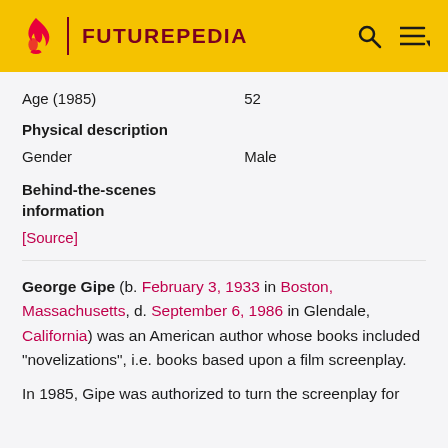FUTUREPEDIA
| Age (1985) | 52 |
| Physical description |  |
| Gender | Male |
| Behind-the-scenes information |  |
| [Source] |  |
George Gipe (b. February 3, 1933 in Boston, Massachusetts, d. September 6, 1986 in Glendale, California) was an American author whose books included "novelizations", i.e. books based upon a film screenplay.
In 1985, Gipe was authorized to turn the screenplay for